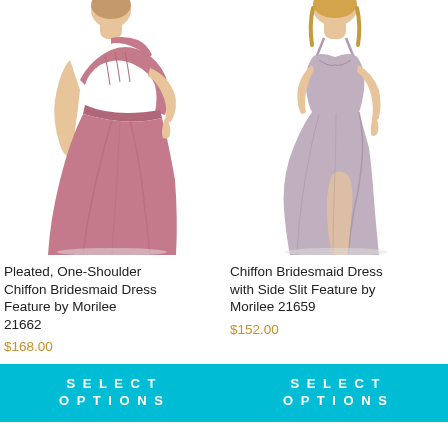[Figure (photo): Woman wearing a pleated one-shoulder long chiffon bridesmaid dress in dusty rose/mauve pink color. Full-length gown with empire waist and flowing skirt.]
Pleated, One-Shoulder Chiffon Bridesmaid Dress Feature by Morilee 21662
$168.00
SELECT OPTIONS
[Figure (photo): Woman wearing a chiffon bridesmaid dress with side slit feature in light lavender/mauve color. Spaghetti strap sweetheart neckline, floor-length with front slit.]
Chiffon Bridesmaid Dress with Side Slit Feature by Morilee 21659
$152.00
SELECT OPTIONS